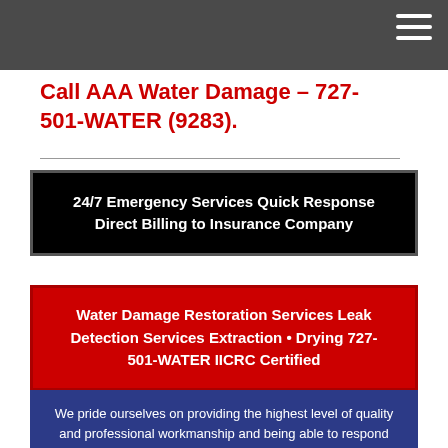Call AAA Water Damage – 727-501-WATER (9283).
24/7 Emergency Services Quick Response Direct Billing to Insurance Company
Water Damage Restoration Services Leak Detection Services Extraction • Drying 727-501-WATER IICRC Certified
We pride ourselves on providing the highest level of quality and professional workmanship and being able to respond quickly and effectively to a water damage emergency in order to prevent as much damage as possible to your home or business. Whether you live in Largo,